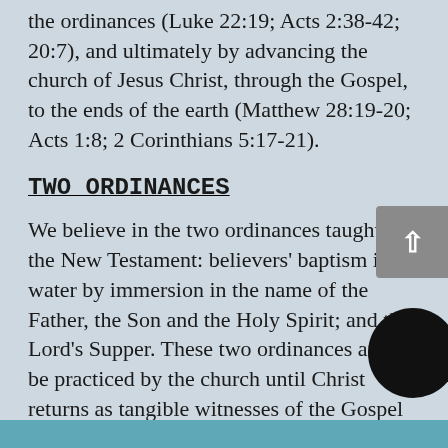the ordinances (Luke 22:19; Acts 2:38-42; 20:7), and ultimately by advancing the church of Jesus Christ, through the Gospel, to the ends of the earth (Matthew 28:19-20; Acts 1:8; 2 Corinthians 5:17-21).
TWO ORDINANCES
We believe in the two ordinances taught in the New Testament: believers' baptism in water by immersion in the name of the Father, the Son and the Holy Spirit; and the Lord's Supper. These two ordinances are to be practiced by the church until Christ returns as tangible witnesses of the Gospel (Matthew 28:19-20; Acts 2:41-42; 18:8; 1 Corinthians 11:23-2